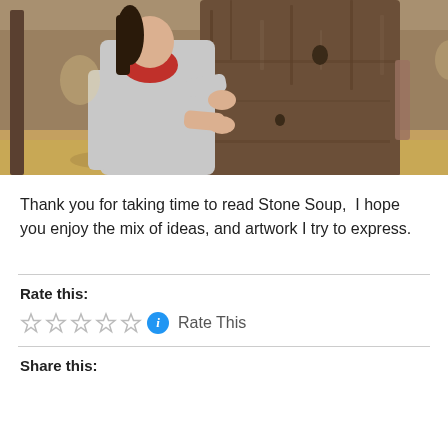[Figure (photo): A woman in a grey hoodie and red scarf hugging a large rough-barked tree in a forest setting with dappled sunlight and dry grass in the background.]
Thank you for taking time to read Stone Soup,  I hope you enjoy the mix of ideas, and artwork I try to express.
Rate this:
Rate This
Share this: